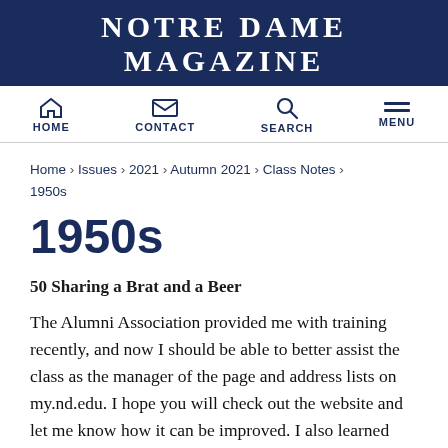NOTRE DAME MAGAZINE
HOME  CONTACT  SEARCH  MENU
Home › Issues › 2021 › Autumn 2021 › Class Notes › 1950s
1950s
50 Sharing a Brat and a Beer
The Alumni Association provided me with training recently, and now I should be able to better assist the class as the manager of the page and address lists on my.nd.edu. I hope you will check out the website and let me know how it can be improved. I also learned that the class has funds available for